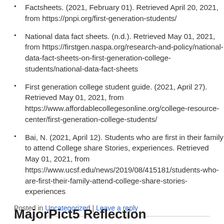Factsheets. (2021, February 01). Retrieved April 20, 2021, from https://pnpi.org/first-generation-students/
National data fact sheets. (n.d.). Retrieved May 01, 2021, from https://firstgen.naspa.org/research-and-policy/national-data-fact-sheets-on-first-generation-college-students/national-data-fact-sheets
First generation college student guide. (2021, April 27). Retrieved May 01, 2021, from https://www.affordablecollegesonline.org/college-resource-center/first-generation-college-students/
Bai, N. (2021, April 12). Students who are first in their family to attend College share Stories, experiences. Retrieved May 01, 2021, from https://www.ucsf.edu/news/2019/08/415181/students-who-are-first-their-family-attend-college-share-stories-experiences
Posted in Uncategorized | Leave a reply
MajorPict5 Reflection